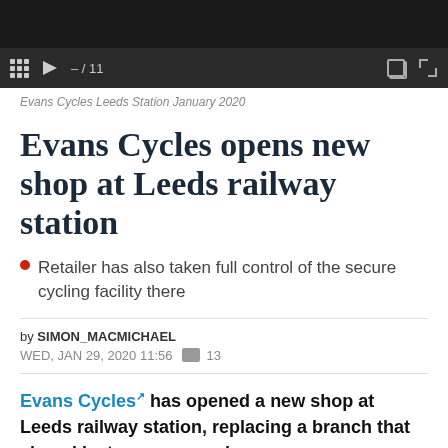[Figure (screenshot): Video player with dark background and playback controls showing – / 11 counter]
Evans Cycles Leeds Station January 2020
Evans Cycles opens new shop at Leeds railway station
Retailer has also taken full control of the secure cycling facility there
by SIMON_MACMICHAEL
WED, JAN 29, 2020 11:56  13
Evans Cycles has opened a new shop at Leeds railway station, replacing a branch that closed last year on nearby